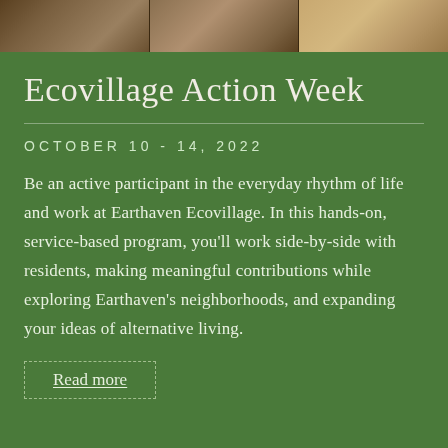[Figure (photo): Photo strip at top showing people outdoors at Earthaven Ecovillage, three segments side by side]
Ecovillage Action Week
OCTOBER 10 - 14, 2022
Be an active participant in the everyday rhythm of life and work at Earthaven Ecovillage. In this hands-on, service-based program, you'll work side-by-side with residents, making meaningful contributions while exploring Earthaven's neighborhoods, and expanding your ideas of alternative living.
Read more